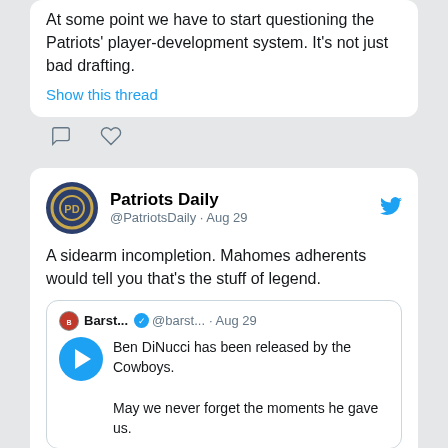At some point we have to start questioning the Patriots' player-development system. It's not just bad drafting.
Show this thread
[Figure (screenshot): Comment and heart action icons below tweet]
Patriots Daily @PatriotsDaily · Aug 29
A sidearm incompletion. Mahomes adherents would tell you that's the stuff of legend.
Barst... @barst... · Aug 29
Ben DiNucci has been released by the Cowboys.

May we never forget the moments he gave us.